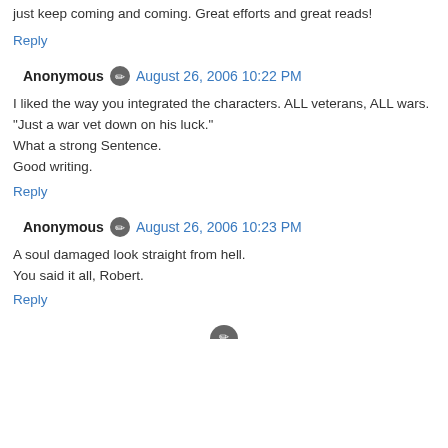just keep coming and coming. Great efforts and great reads!
Reply
Anonymous · August 26, 2006 10:22 PM
I liked the way you integrated the characters. ALL veterans, ALL wars.
"Just a war vet down on his luck."
What a strong Sentence.
Good writing.
Reply
Anonymous · August 26, 2006 10:23 PM
A soul damaged look straight from hell.
You said it all, Robert.
Reply